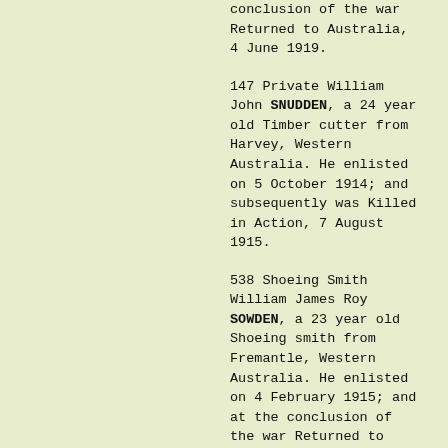conclusion of the war Returned to Australia, 4 June 1919.
147 Private William John SNUDDEN, a 24 year old Timber cutter from Harvey, Western Australia. He enlisted on 5 October 1914; and subsequently was Killed in Action, 7 August 1915.
538 Shoeing Smith William James Roy SOWDEN, a 23 year old Shoeing smith from Fremantle, Western Australia. He enlisted on 4 February 1915; and at the conclusion of the war Returned to Australia, 29 April 1919.
162 Driver David Norman SPARKS, a 27 year old Teamster Farmer from Upper Swan, Western Australia. He enlisted on 5 October 1914; and at the conclusion of the war Returned to Australia, 23 December 1918.
136 Private Forrest Clive